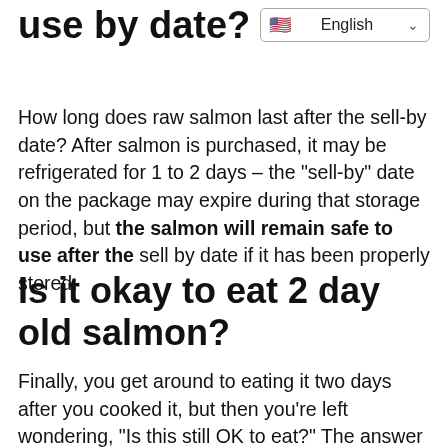use by date?
[Figure (screenshot): Language selector dropdown showing English with US flag]
How long does raw salmon last after the sell-by date? After salmon is purchased, it may be refrigerated for 1 to 2 days – the “sell-by” date on the package may expire during that storage period, but the salmon will remain safe to use after the sell by date if it has been properly stored.
Is it okay to eat 2 day old salmon?
Finally, you get around to eating it two days after you cooked it, but then you’re left wondering, “Is this still OK to eat?” The answer—YES. In fact, salmon lasts in the